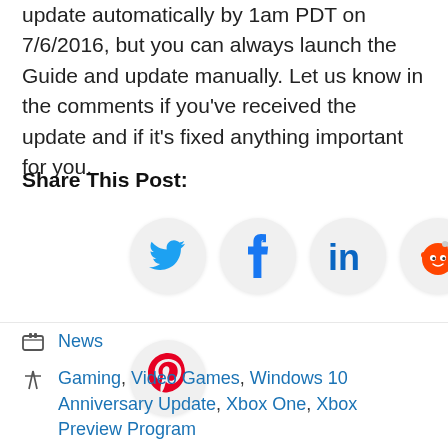update automatically by 1am PDT on 7/6/2016, but you can always launch the Guide and update manually. Let us know in the comments if you've received the update and if it's fixed anything important for you.
Share This Post:
[Figure (infographic): Social sharing buttons: Twitter (blue bird), Facebook (blue f), LinkedIn (blue 'in'), Reddit (orange alien), Pinterest (red P)]
News
Gaming, Video Games, Windows 10 Anniversary Update, Xbox One, Xbox Preview Program